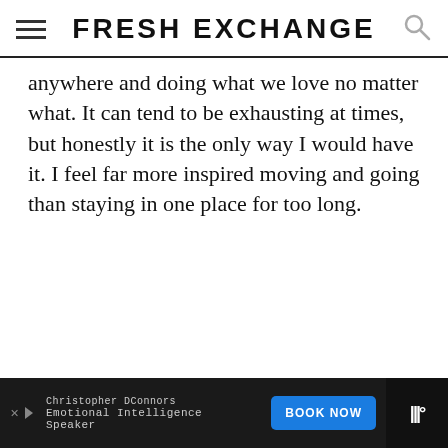FRESH EXCHANGE
anywhere and doing what we love no matter what. It can tend to be exhausting at times, but honestly it is the only way I would have it. I feel far more inspired moving and going than staying in one place for too long.
[Figure (screenshot): Advertisement bar at bottom: Christopher DConnors, Emotional Intelligence Speaker, BOOK NOW button, with ad icons and logo]